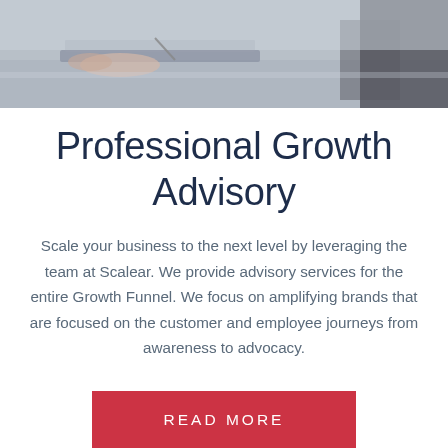[Figure (photo): Photo of people working at a desk with a laptop, hands visible, one person wearing a dark sweater sleeve visible on right]
Professional Growth Advisory
Scale your business to the next level by leveraging the team at Scalear. We provide advisory services for the entire Growth Funnel. We focus on amplifying brands that are focused on the customer and employee journeys from awareness to advocacy.
READ MORE